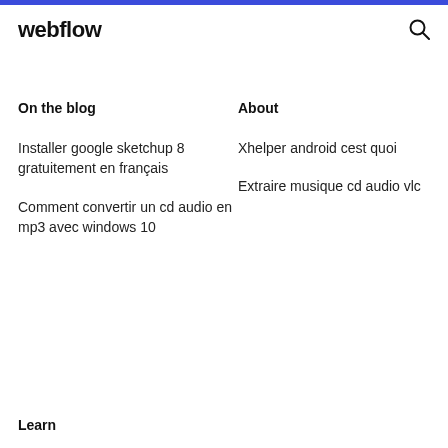webflow
On the blog
About
Installer google sketchup 8 gratuitement en français
Xhelper android cest quoi
Comment convertir un cd audio en mp3 avec windows 10
Extraire musique cd audio vlc
Learn